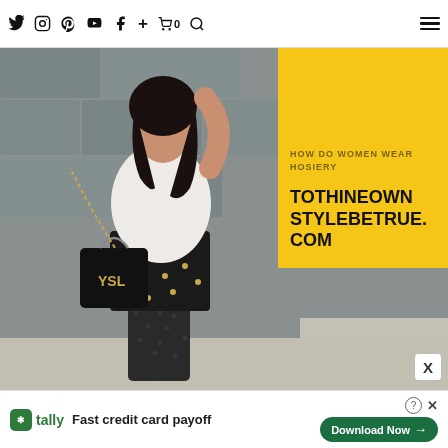Twitter Instagram Pinterest YouTube Facebook + Cart 0 Search Menu
[Figure (photo): Fashion blog screenshot showing a woman wearing a white ruffled top, black studded mini skirt, patterned black tights, and carrying a black chain-strap bag. Background is a stone wall. Yellow overlay box in upper right corner reads 'TOTHINEOWNSTYLEBETRUE.COM' with partial heading text above.]
TOTHINEOWNSTYLEBETRUE.COM
Fast credit card payoff
Download Now →